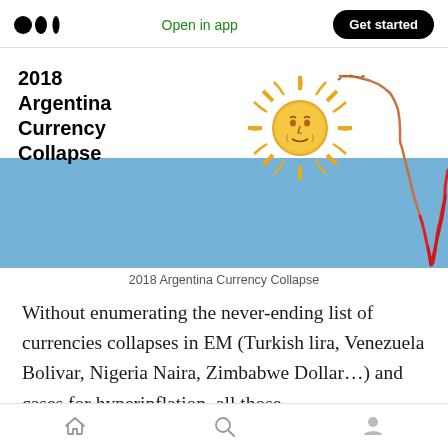Open in app | Get started
[Figure (illustration): Illustration of 2018 Argentina Currency Collapse: Argentine sun symbol with a chart line plunging downward sharply, overlaid on the light blue stripe of the Argentine flag. Text '2018 Argentina Currency Collapse' displayed on the left side of the image.]
2018 Argentina Currency Collapse
Without enumerating the never-ending list of currencies collapses in EM (Turkish lira, Venezuela Bolivar, Nigeria Naira, Zimbabwe Dollar…) and cases for hyperinflation, all those
Home | Search | Profile